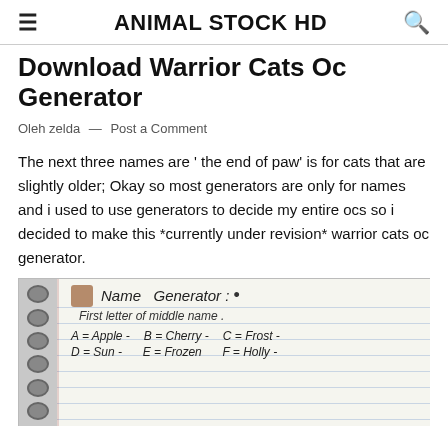ANIMAL STOCK HD
Download Warrior Cats Oc Generator
Oleh zelda — Post a Comment
The next three names are ' the end of paw' is for cats that are slightly older; Okay so most generators are only for names and i used to use generators to decide my entire ocs so i decided to make this *currently under revision* warrior cats oc generator.
[Figure (photo): A handwritten notebook page titled 'Name Generator:' showing a list with 'First letter of middle name.' and entries: A=Apple-, B=Cherry-, C=Frost-, D=Sun-, E=Frozen, F=Holly-]